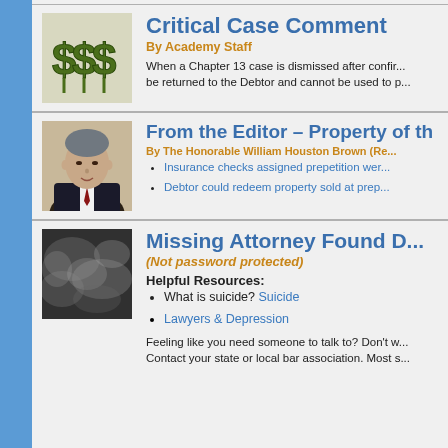[Figure (illustration): Dollar signs $$$ icon in green]
Critical Case Comment
By Academy Staff
When a Chapter 13 case is dismissed after confir... be returned to the Debtor and cannot be used to p...
[Figure (photo): Portrait photo of The Honorable William Houston Brown]
From the Editor – Property of th...
By The Honorable William Houston Brown (Re...
Insurance checks assigned prepetition wer...
Debtor could redeem property sold at prep...
[Figure (photo): Dark abstract/cloudy image]
Missing Attorney Found D...
(Not password protected)
Helpful Resources:
What is suicide? Suicide
Lawyers & Depression
Feeling like you need someone to talk to? Don't w... Contact your state or local bar association. Most s...